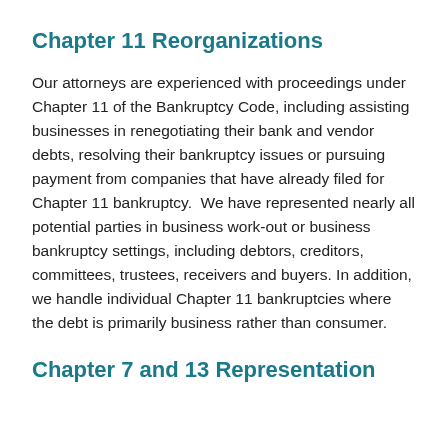Chapter 11 Reorganizations
Our attorneys are experienced with proceedings under Chapter 11 of the Bankruptcy Code, including assisting businesses in renegotiating their bank and vendor debts, resolving their bankruptcy issues or pursuing payment from companies that have already filed for Chapter 11 bankruptcy.  We have represented nearly all potential parties in business work-out or business bankruptcy settings, including debtors, creditors, committees, trustees, receivers and buyers. In addition, we handle individual Chapter 11 bankruptcies where the debt is primarily business rather than consumer.
Chapter 7 and 13 Representation